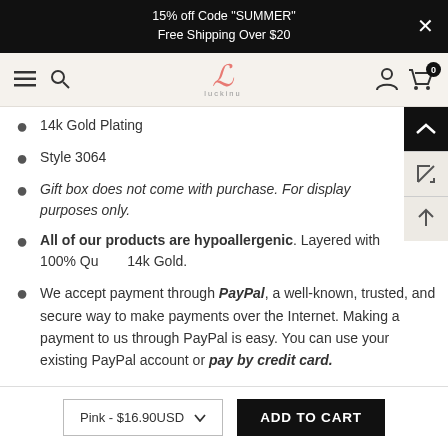15% off Code "SUMMER"
Free Shipping Over $20
[Figure (logo): Luckinu brand logo - stylized cursive L in coral/pink color with 'luckinu' text below]
14k Gold Plating
Style 3064
Gift box does not come with purchase. For display purposes only.
All of our products are hypoallergenic. Layered with 100% Qu... 14k Gold.
We accept payment through PayPal, a well-known, trusted, and secure way to make payments over the Internet. Making a payment to us through PayPal is easy. You can use your existing PayPal account or pay by credit card.
Pink - $16.90USD    ADD TO CART